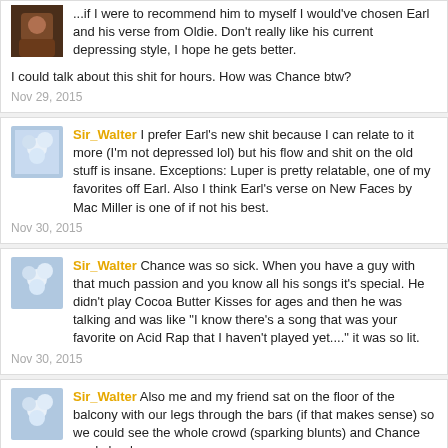...if I were to recommend him to myself I would've chosen Earl and his verse from Oldie. Don't really like his current depressing style, I hope he gets better.

I could talk about this shit for hours. How was Chance btw?
Nov 29, 2015
Sir_Walter I prefer Earl's new shit because I can relate to it more (I'm not depressed lol) but his flow and shit on the old stuff is insane. Exceptions: Luper is pretty relatable, one of my favorites off Earl. Also I think Earl's verse on New Faces by Mac Miller is one of if not his best.
Nov 30, 2015
Sir_Walter Chance was so sick. When you have a guy with that much passion and you know all his songs it's special. He didn't play Cocoa Butter Kisses for ages and then he was talking and was like "I know there's a song that was your favorite on Acid Rap that I haven't played yet...." it was so lit.
Nov 30, 2015
Sir_Walter Also me and my friend sat on the floor of the balcony with our legs through the bars (if that makes sense) so we could see the whole crowd (sparking blunts) and Chance mad clearly.

Do you listen to Freddie Gibbs? His flow is crazy.

I had to split this shit up lmao
Nov 30, 2015
AmestriStephen I love some of his old songs (EARL, Drop, ..) and some of his recent tracks(Sunday, Chum, Burgundy and again Grief, Off Top). But I think I'll keep on enjoying his works.